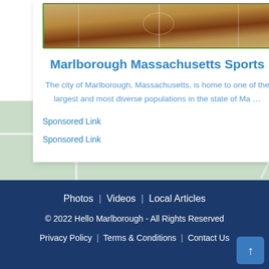[Figure (photo): Basketball court photo viewed from above showing hardwood floor with court markings]
Marlborough Massachusetts Sports
The city of Marlborough, Massachusetts, is home to one of the largest and most diverse populations in the state of Ma …
Sponsored Link
Sponsored Link
[Figure (map): Street map background showing roads and water features near Marlborough MA]
Photos | Videos | Local Articles
© 2022 Hello Marlborough - All Rights Reserved
Privacy Policy | Terms & Conditions | Contact Us